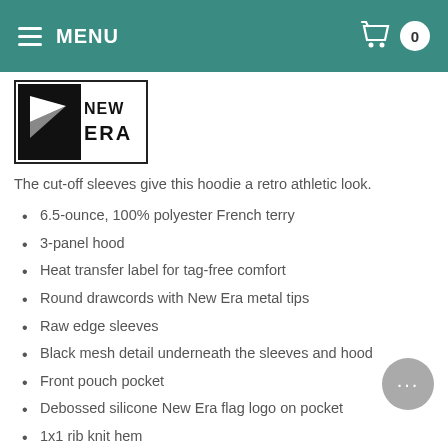MENU
[Figure (logo): New Era brand logo — black and white logo with flag icon and 'NEW ERA' text]
The cut-off sleeves give this hoodie a retro athletic look.
6.5-ounce, 100% polyester French terry
3-panel hood
Heat transfer label for tag-free comfort
Round drawcords with New Era metal tips
Raw edge sleeves
Black mesh detail underneath the sleeves and hood
Front pouch pocket
Debossed silicone New Era flag logo on pocket
1x1 rib knit hem
New Era - Men's Sizing Information